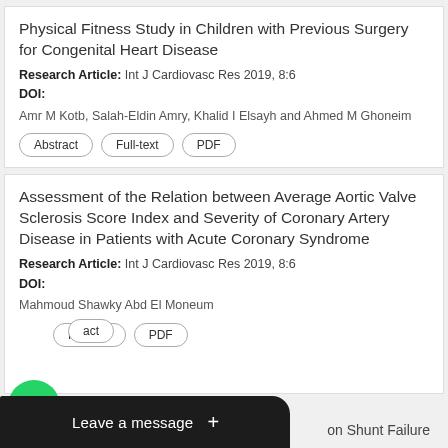Physical Fitness Study in Children with Previous Surgery for Congenital Heart Disease
Research Article: Int J Cardiovasc Res 2019, 8:6
DOI:
Amr M Kotb, Salah-Eldin Amry, Khalid I Elsayh and Ahmed M Ghoneim
Abstract | Full-text | PDF
Assessment of the Relation between Average Aortic Valve Sclerosis Score Index and Severity of Coronary Artery Disease in Patients with Acute Coronary Syndrome
Research Article: Int J Cardiovasc Res 2019, 8:6
DOI:
Mahmoud Shawky Abd El Moneum
Abstract | Full-text | PDF
[Figure (other): WhatsApp floating chat button and 'Leave a message +' overlay bar]